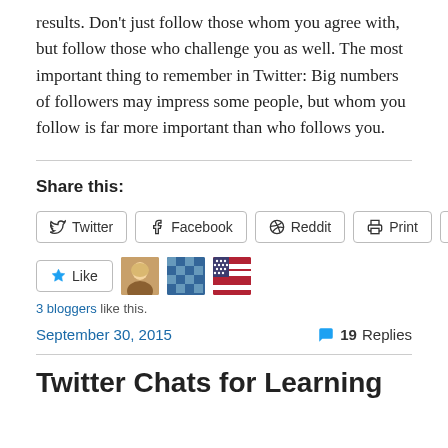results. Don't just follow those whom you agree with, but follow those who challenge you as well. The most important thing to remember in Twitter: Big numbers of followers may impress some people, but whom you follow is far more important than who follows you.
Share this:
[Figure (other): Social share buttons: Twitter, Facebook, Reddit, Print, Email]
[Figure (other): Like button with 3 blogger avatars]
3 bloggers like this.
September 30, 2015   19 Replies
Twitter Chats for Learning